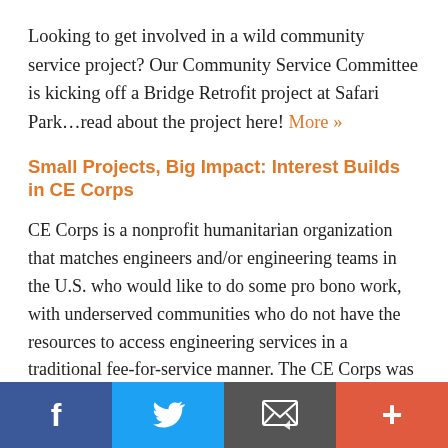Looking to get involved in a wild community service project?  Our Community Service Committee is kicking off a Bridge Retrofit project at Safari Park…read about the project here! More »
Small Projects, Big Impact: Interest Builds in CE Corps
CE Corps is a nonprofit humanitarian organization that matches engineers and/or engineering teams in the U.S. who would like to do some pro bono work, with underserved communities who do not have the resources to access engineering services in a traditional fee-for-service manner. The CE Corps was formed through a partnership among ASCE, Engineers Without Borders–USA (EWB-USA), and AWWA
f  Twitter  Email  +